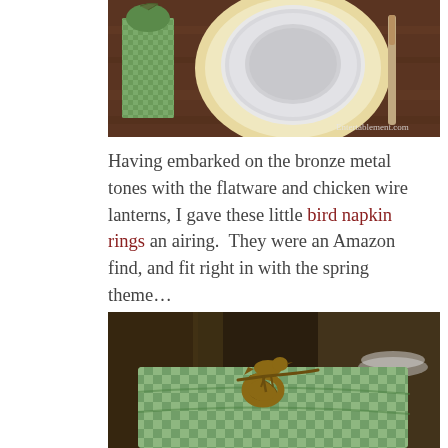[Figure (photo): Top-down view of a table setting with white scalloped plates stacked on a yellow-rimmed plate, on a dark wood surface, with a green gingham folded napkin on the left and a knife on the right. Watermark reads Entertablement.com]
Having embarked on the bronze metal tones with the flatware and chicken wire lanterns, I gave these little bird napkin rings an airing.  They were an Amazon find, and fit right in with the spring theme…
[Figure (photo): Close-up of a green gingham/checkered napkin with a bronze bird napkin ring perched on top, on a blurred dining table background.]